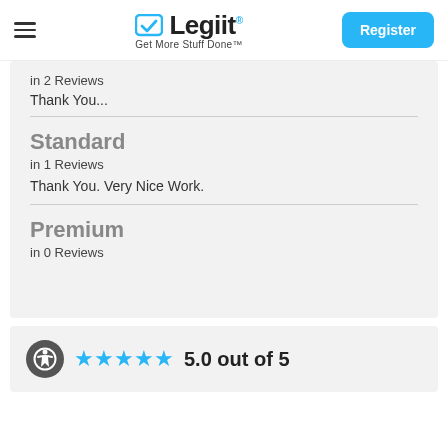Legiit — Get More Stuff Done™ | Register
in 2 Reviews
Thank You...
Standard
in 1 Reviews
Thank You. Very Nice Work.
Premium
in 0 Reviews
5.0 out of 5